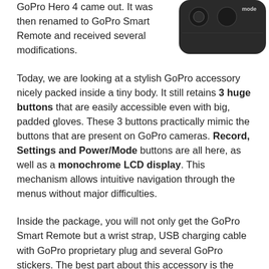...with 2mm. Very recently, up until GoPro Hero 4 came out. It was then renamed to GoPro Smart Remote and received several modifications.
[Figure (photo): Close-up of a dark GoPro Smart Remote device showing the 'mode' button label visible on top.]
Today, we are looking at a stylish GoPro accessory nicely packed inside a tiny body. It still retains 3 huge buttons that are easily accessible even with big, padded gloves. These 3 buttons practically mimic the buttons that are present on GoPro cameras. Record, Settings and Power/Mode buttons are all here, as well as a monochrome LCD display. This mechanism allows intuitive navigation through the menus without major difficulties.
Inside the package, you will not only get the GoPro Smart Remote but a wrist strap, USB charging cable with GoPro proprietary plug and several GoPro stickers. The best part about this accessory is the fact that it can effectively control